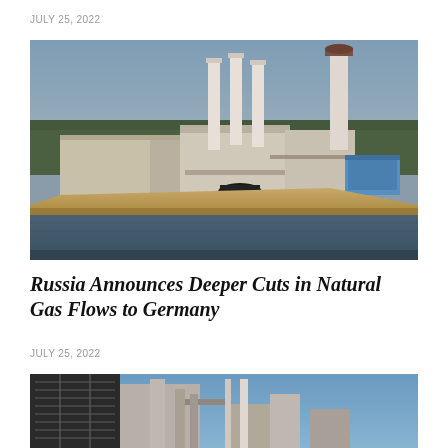JULY 25, 2022
[Figure (photo): Industrial gas facility with tall white chimneys/stacks situated on a waterfront embankment, with trees in the background and a blue storage unit visible on the right side.]
Russia Announces Deeper Cuts in Natural Gas Flows to Germany
JULY 25, 2022
[Figure (photo): Partial view of an industrial facility, appears to be another energy-related infrastructure photo, partially cropped at the bottom of the page.]